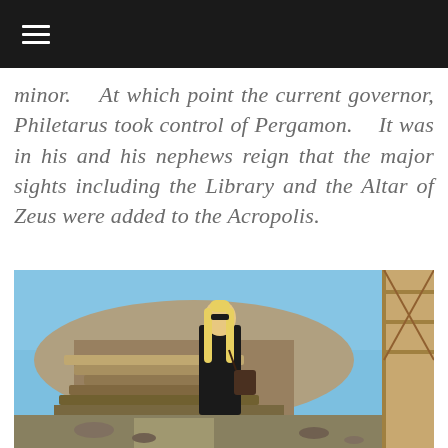≡
minor.  At which point the current governor, Philetarus took control of Pergamon.  It was in his and his nephews reign that the major sights including the Library and the Altar of Zeus were added to the Acropolis.
[Figure (photo): A woman with long blonde hair wearing dark clothing and sunglasses, standing at an archaeological site with ruins and hills in the background under a clear blue sky. There is a wooden structure visible on the right side of the image.]